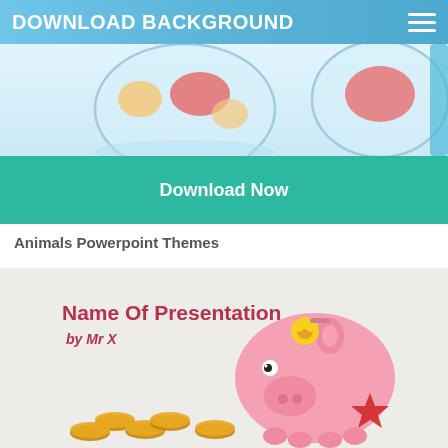DOWNLOAD BACKGROUND
[Figure (screenshot): Fish bowls with colorful fish and aquarium items in a light blue background]
Download Now
Animals Powerpoint Themes
[Figure (photo): Powerpoint template slide preview showing 'Name Of Presentation by Mr X' text with a pink piggy bank and coins on a light gray background]